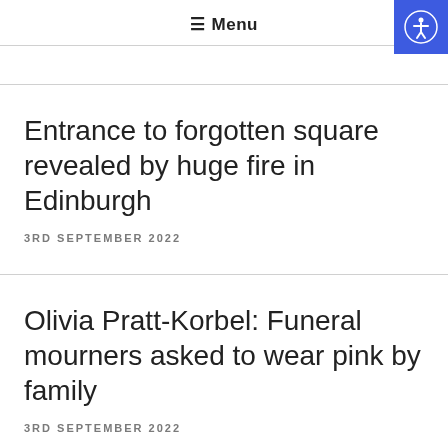≡ Menu
Entrance to forgotten square revealed by huge fire in Edinburgh
3RD SEPTEMBER 2022
Olivia Pratt-Korbel: Funeral mourners asked to wear pink by family
3RD SEPTEMBER 2022